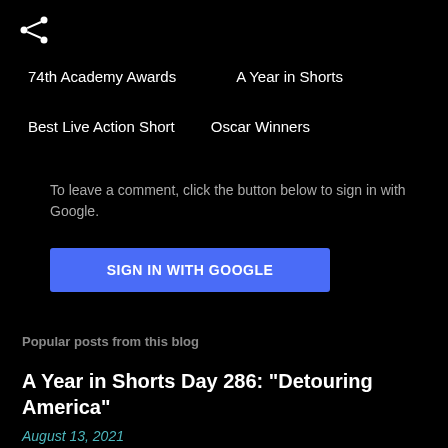[Figure (illustration): Share icon (connected dots forming share symbol) in white on black background]
74th Academy Awards
A Year in Shorts
Best Live Action Short
Oscar Winners
To leave a comment, click the button below to sign in with Google.
SIGN IN WITH GOOGLE
Popular posts from this blog
A Year in Shorts Day 286: "Detouring America"
August 13, 2021